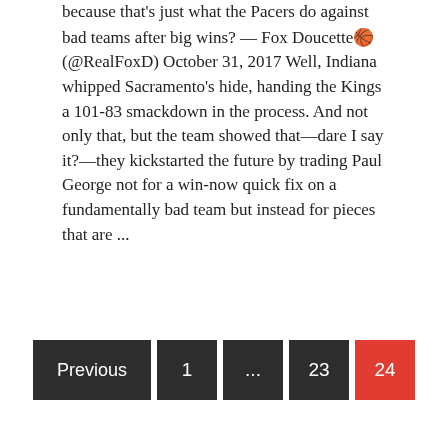because that's just what the Pacers do against bad teams after big wins? — Fox Doucette🏀 (@RealFoxD) October 31, 2017 Well, Indiana whipped Sacramento's hide, handing the Kings a 101-83 smackdown in the process. And not only that, but the team showed that—dare I say it?—they kickstarted the future by trading Paul George not for a win-now quick fix on a fundamentally bad team but instead for pieces that are ...
READ MORE
Previous  1  ...  23  24